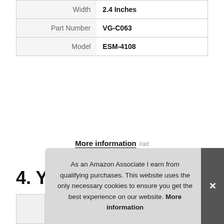| Attribute | Value |
| --- | --- |
| Width | 2.4 Inches |
| Part Number | VG-C063 |
| Model | ESM-4108 |
More information #ad
4. YCCTEAM
#ad
As an Amazon Associate I earn from qualifying purchases. This website uses the only necessary cookies to ensure you get the best experience on our website. More information